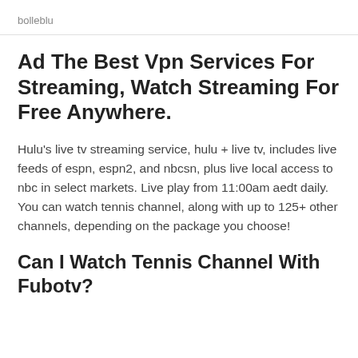bolleblu
Ad The Best Vpn Services For Streaming, Watch Streaming For Free Anywhere.
Hulu's live tv streaming service, hulu + live tv, includes live feeds of espn, espn2, and nbcsn, plus live local access to nbc in select markets. Live play from 11:00am aedt daily. You can watch tennis channel, along with up to 125+ other channels, depending on the package you choose!
Can I Watch Tennis Channel With Fubotv?